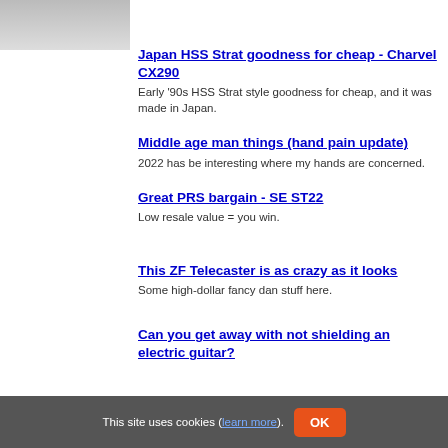[Figure (photo): Partial thumbnail image at top left]
Japan HSS Strat goodness for cheap - Charvel CX290
Early '90s HSS Strat style goodness for cheap, and it was made in Japan.
Middle age man things (hand pain update)
2022 has be interesting where my hands are concerned.
Great PRS bargain - SE ST22
Low resale value = you win.
This ZF Telecaster is as crazy as it looks
Some high-dollar fancy dan stuff here.
Can you get away with not shielding an electric guitar?
This site uses cookies (learn more). OK